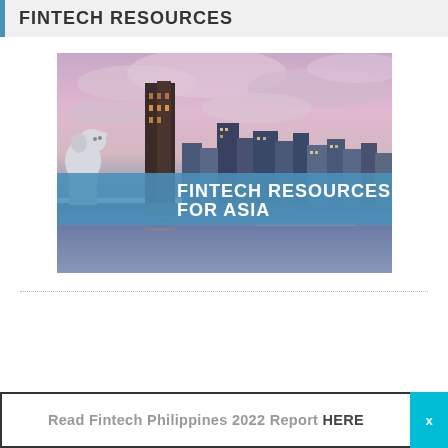FINTECH RESOURCES
[Figure (illustration): City skyline at dusk with pink/purple sky and reflections on water, with Merlion statue on the left and blue banner overlay reading FINTECH RESOURCES FOR ASIA]
Read Fintech Philippines 2022 Report HERE